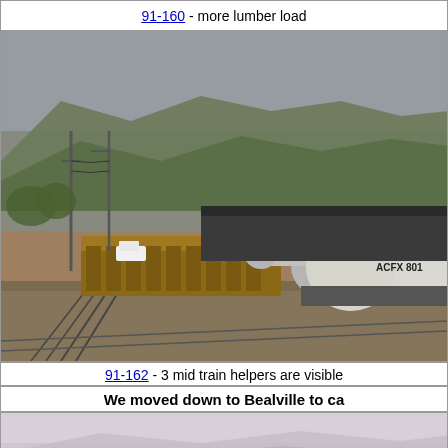91-160 - more lumber load
[Figure (photo): Railroad yard photo showing freight cars including gondola cars and tank car labeled ACFX 801, with mountains in background and a white pickup truck visible. Multiple tracks curve through the yard.]
91-162 - 3 mid train helpers are visible
We moved down to Bealville to ca
[Figure (photo): Partial view of a hazy/misty landscape with mountains in background, bottom portion of page.]